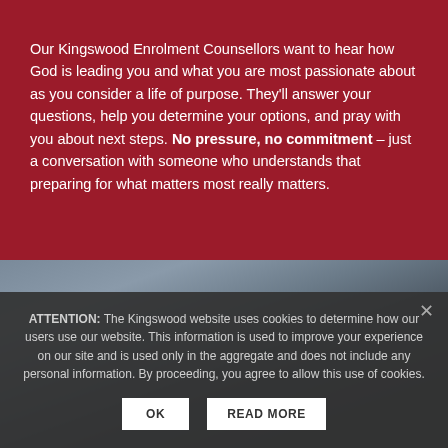Our Kingswood Enrolment Counsellors want to hear how God is leading you and what you are most passionate about as you consider a life of purpose. They'll answer your questions, help you determine your options, and pray with you about next steps. No pressure, no commitment – just a conversation with someone who understands that preparing for what matters most really matters.
[Figure (photo): Partially visible outdoor photograph showing a sky and what appears to be a structure or cable, partially obscured by the cookie consent overlay]
ATTENTION: The Kingswood website uses cookies to determine how our users use our website. This information is used to improve your experience on our site and is used only in the aggregate and does not include any personal information. By proceeding, you agree to allow this use of cookies.